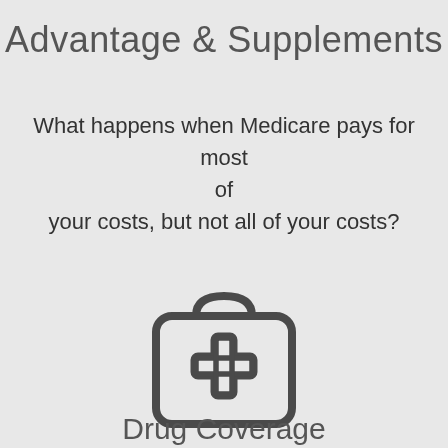Advantage & Supplements
What happens when Medicare pays for most of your costs, but not all of your costs?
[Figure (illustration): Medical kit / first-aid bag icon with a cross symbol, rendered in dark gray outline style]
Drug Coverage